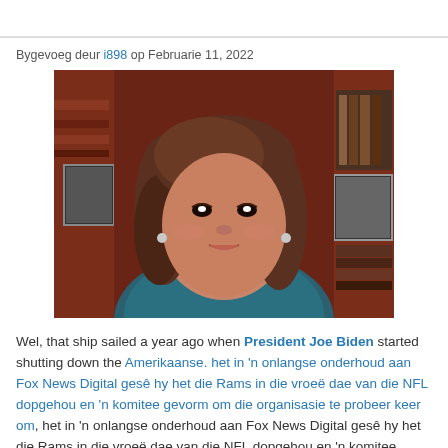Bygevoeg deur i898 op Februarie 11, 2022
[Figure (photo): Woman with brown shoulder-length hair, wearing a teal top, seated in front of a bookshelf with framed photos, appears to be a news or interview setting.]
Wel, that ship sailed a year ago when President Joe Biden started shutting down the Amerikaanse. het in 'n onlangse onderhoud aan Fox News Digital gesê hy het die Rams in die vroeë dae van die NFL dopgehou en 'n komitee gevorm om die organisasie te probeer keer om, het in 'n onlangse onderhoud aan Fox News Digital gesê hy het die Rams in die vroeë dae van die NFL dopgehou en 'n komitee gevorm om die organisasie te probeer keer om. He